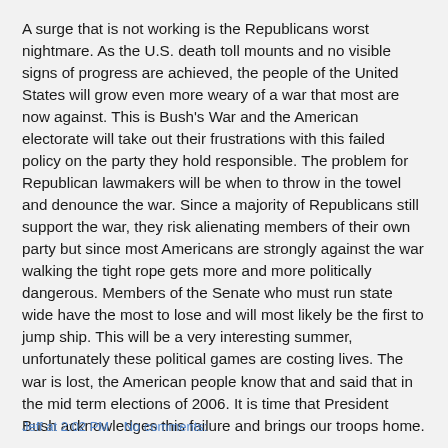A surge that is not working is the Republicans worst nightmare. As the U.S. death toll mounts and no visible signs of progress are achieved, the people of the United States will grow even more weary of a war that most are now against. This is Bush's War and the American electorate will take out their frustrations with this failed policy on the party they hold responsible. The problem for Republican lawmakers will be when to throw in the towel and denounce the war. Since a majority of Republicans still support the war, they risk alienating members of their own party but since most Americans are strongly against the war walking the tight rope gets more and more politically dangerous. Members of the Senate who must run state wide have the most to lose and will most likely be the first to jump ship. This will be a very interesting summer, unfortunately these political games are costing lives. The war is lost, the American people know that and said that in the mid term elections of 2006. It is time that President Bush acknowledges this failure and brings our troops home.
Jeff at 2:02 PM   No comments: